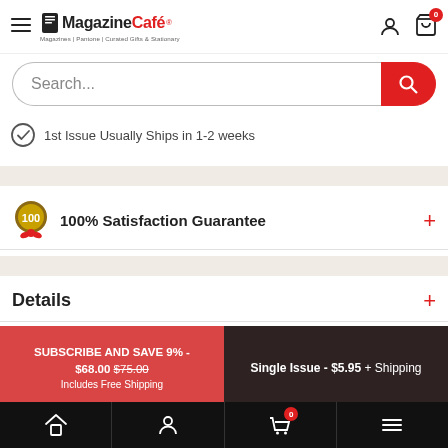[Figure (screenshot): Magazine Café website header with hamburger menu, logo, user icon, and cart icon with 0 badge]
[Figure (screenshot): Search bar with placeholder text 'Search...' and red search button]
1st Issue Usually Ships in 1-2 weeks
100% Satisfaction Guarantee
Details
SUBSCRIBE AND SAVE 9% - $68.00 $75.00 Includes Free Shipping
Single Issue - $5.95 + Shipping
[Figure (screenshot): Bottom navigation bar with home, user, cart (badge 0), and menu icons]